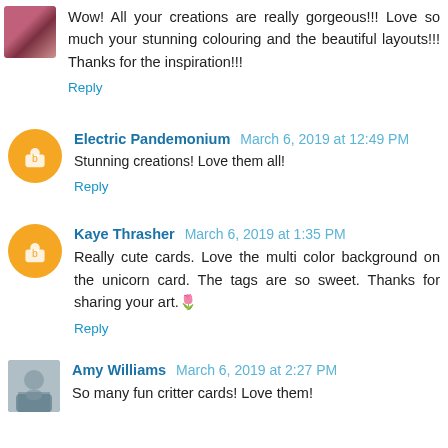Wow! All your creations are really gorgeous!!! Love so much your stunning colouring and the beautiful layouts!!! Thanks for the inspiration!!!
Reply
Electric Pandemonium  March 6, 2019 at 12:49 PM
Stunning creations! Love them all!
Reply
Kaye Thrasher  March 6, 2019 at 1:35 PM
Really cute cards. Love the multi color background on the unicorn card. The tags are so sweet. Thanks for sharing your art.🌷
Reply
Amy Williams  March 6, 2019 at 2:27 PM
So many fun critter cards! Love them!